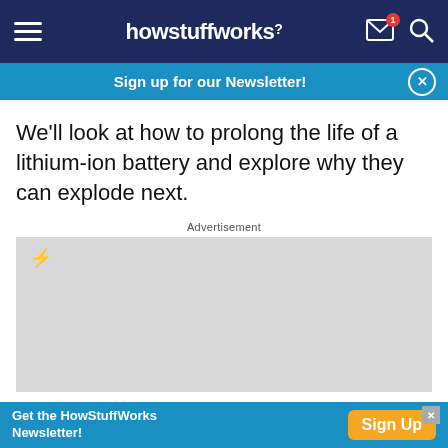howstuffworks
Sign up for our Newsletter!
We'll look at how to prolong the life of a lithium-ion battery and explore why they can explode next.
Advertisement
[Figure (other): Advertisement placeholder box with an orange lightning bolt icon in the top-left corner]
Get the HowStuffWorks Newsletter!